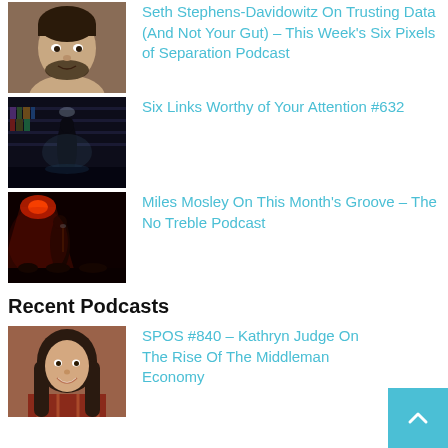[Figure (photo): Portrait photo of a man with dark hair and beard]
Seth Stephens-Davidowitz On Trusting Data (And Not Your Gut) – This Week's Six Pixels of Separation Podcast
[Figure (photo): Dark photo of a person in a library or bookstore scene]
Six Links Worthy of Your Attention #632
[Figure (photo): Concert photo with red stage lighting, musician performing]
Miles Mosley On This Month's Groove – The No Treble Podcast
Recent Podcasts
[Figure (photo): Portrait photo of a smiling woman with long dark hair]
SPOS #840 – Kathryn Judge On The Rise Of The Middleman Economy